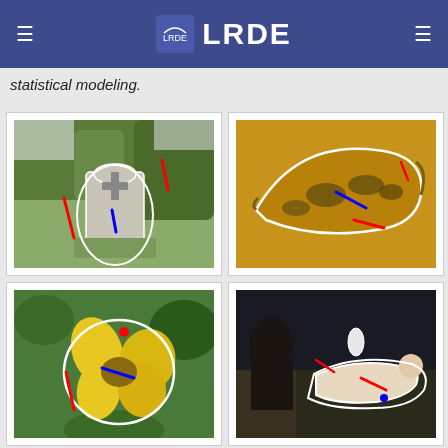LRDE
statistical modeling.
[Figure (photo): Gravestone in a cemetery with white outline segmentation and red/blue annotation strokes]
[Figure (photo): Ripe banana on orange background with white outline segmentation and red/blue annotation strokes]
[Figure (photo): Yellow flower in garden with white outline segmentation and red/blue annotation strokes]
[Figure (photo): Classical painting of reclining figure with white outline segmentation and red/blue annotation strokes]
[Figure (photo): Dark image with green illuminated flower shape]
[Figure (photo): Snowy scene with white shape partially visible]